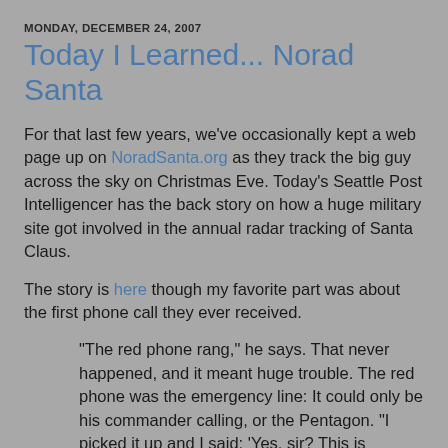MONDAY, DECEMBER 24, 2007
Today I Learned... Norad Santa
For that last few years, we've occasionally kept a web page up on NoradSanta.org as they track the big guy across the sky on Christmas Eve. Today's Seattle Post Intelligencer has the back story on how a huge military site got involved in the annual radar tracking of Santa Claus.
The story is here though my favorite part was about the first phone call they ever received.
"The red phone rang," he says. That never happened, and it meant huge trouble. The red phone was the emergency line: It could only be his commander calling, or the Pentagon. "I picked it up and I said: 'Yes, sir? This is Colonel Shoup.' "
There was no answer for a moment. Then came the hesitant voice of a small boy. "Are you really